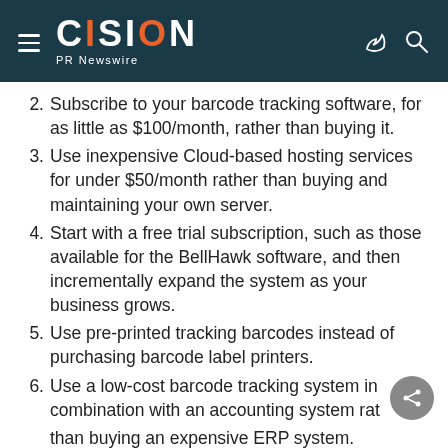CISION PR Newswire
Subscribe to your barcode tracking software, for as little as $100/month, rather than buying it.
Use inexpensive Cloud-based hosting services for under $50/month rather than buying and maintaining your own server.
Start with a free trial subscription, such as those available for the BellHawk software, and then incrementally expand the system as your business grows.
Use pre-printed tracking barcodes instead of purchasing barcode label printers.
Use a low-cost barcode tracking system in combination with an accounting system rather than buying an expensive ERP system.